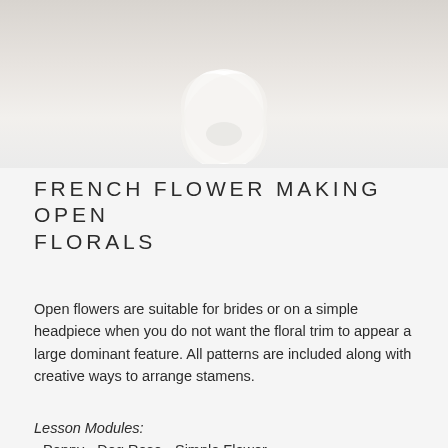[Figure (photo): Close-up photo of white fabric or silk flowers against a light grey background, partially cropped at top]
FRENCH FLOWER MAKING OPEN FLORALS
Open flowers are suitable for brides or on a simple headpiece when you do not want the floral trim to appear a large dominant feature. All patterns are included along with creative ways to arrange stamens.
Lesson Modules:
• Poppy • Dog Rose • Simple Flower
[Figure (photo): Bottom portion of another course card with grey/lilac background and a small purple/blue flower shape visible at the bottom]